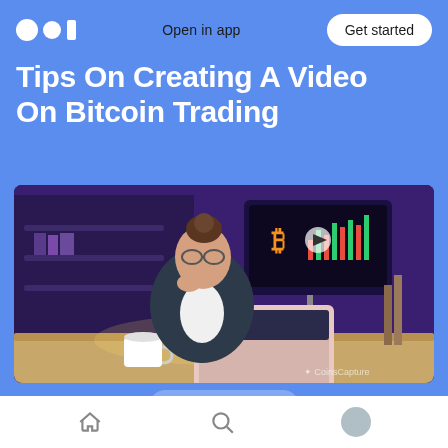Open in app | Get started
Tips On Creating A Video On Bitcoin Trading
[Figure (illustration): Illustration of a woman in business attire sitting at a desk with a laptop, looking at a screen showing a Bitcoin trading chart with a play button. A cup of coffee is on the desk. Background is dark purple. CoinsCapture logo in bottom right.]
28
Bitcoin and its underlying blockchain technology
Home | Search | Profile